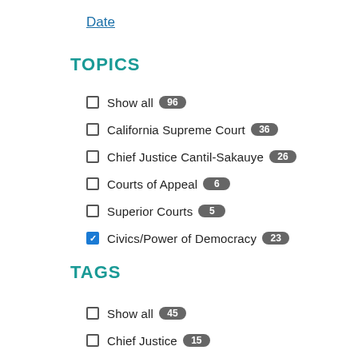Date
TOPICS
Show all 96
California Supreme Court 36
Chief Justice Cantil-Sakauye 26
Courts of Appeal 6
Superior Courts 5
Civics/Power of Democracy 23 (checked)
TAGS
Show all 45
Chief Justice 15